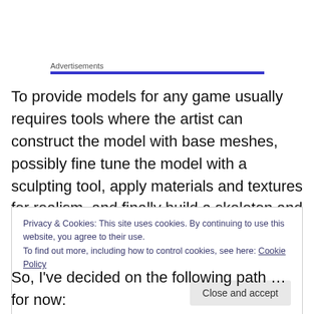Advertisements
To provide models for any game usually requires tools where the artist can construct the model with base meshes, possibly fine tune the model with a sculpting tool, apply materials and textures for realism, and finally build a skeleton and skin the mesh for the non-static model.  As with the game development environment these tools can
Privacy & Cookies: This site uses cookies. By continuing to use this website, you agree to their use.
To find out more, including how to control cookies, see here: Cookie Policy
Close and accept
So, I've decided on the following path … for now: